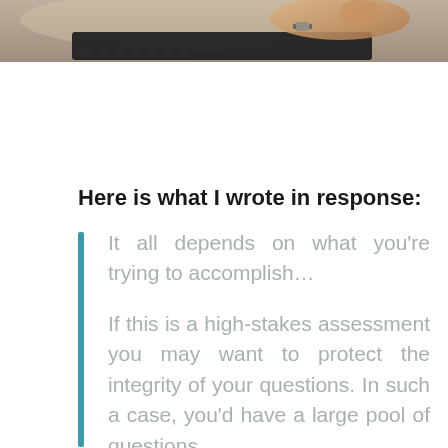[Figure (photo): Close-up photo of hands typing on a keyboard, cropped to show just the top portion of the keyboard and a person's hand/wrist with a watch]
Here is what I wrote in response:
It all depends on what you’re trying to accomplish…

If this is a high-stakes assessment you may want to protect the integrity of your questions. In such a case, you’d have a large pool of questions